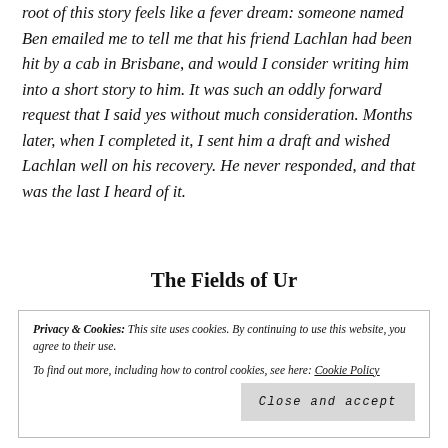root of this story feels like a fever dream: someone named Ben emailed me to tell me that his friend Lachlan had been hit by a cab in Brisbane, and would I consider writing him into a short story to him. It was such an oddly forward request that I said yes without much consideration. Months later, when I completed it, I sent him a draft and wished Lachlan well on his recovery. He never responded, and that was the last I heard of it.
The Fields of Ur
Privacy & Cookies: This site uses cookies. By continuing to use this website, you agree to their use.
To find out more, including how to control cookies, see here: Cookie Policy
Close and accept